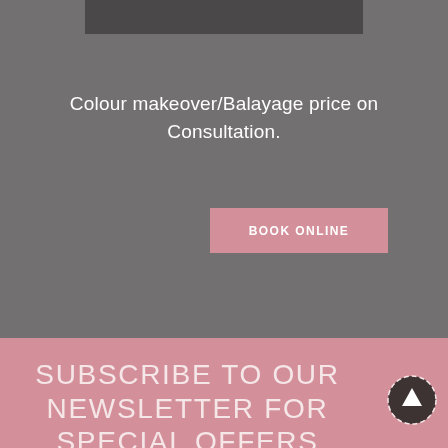[Figure (other): Dark gray horizontal bar at top of page]
Colour makeover/Balayage price on Consultation.
BOOK ONLINE
SUBSCRIBE TO OUR NEWSLETTER FOR SPECIAL OFFERS